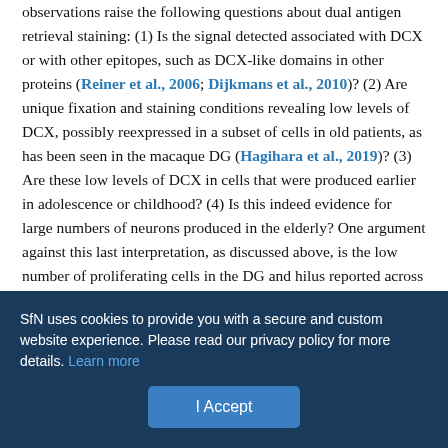observations raise the following questions about dual antigen retrieval staining: (1) Is the signal detected associated with DCX or with other epitopes, such as DCX-like domains in other proteins (Reiner et al., 2006; Dijkmans et al., 2010)? (2) Are unique fixation and staining conditions revealing low levels of DCX, possibly reexpressed in a subset of cells in old patients, as has been seen in the macaque DG (Hagihara et al., 2019)? (3) Are these low levels of DCX in cells that were produced earlier in adolescence or childhood? (4) Is this indeed evidence for large numbers of neurons produced in the elderly? One argument against this last interpretation, as discussed above, is the low number of proliferating cells in the DG and hilus reported across multiple studies.
Are we missing DCX+ neurons in our adult samples because of
SfN uses cookies to provide you with a secure and custom website experience. Please read our privacy policy for more details. Learn more